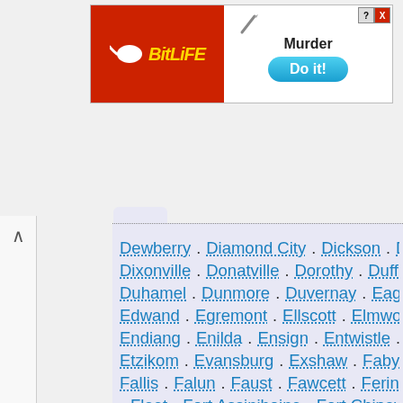[Figure (other): BitLife advertisement banner with red left panel showing BitLife logo, and right white panel showing 'Murder' text above a blue 'Do it!' button, with a knife graphic]
Dewberry . Diamond City . Dickson . Dimsdale . Dixonville . Donatville . Dorothy . Duffield . Duhamel . Dunmore . Duvernay . Eaglesham . Edwand . Egremont . Ellscott . Elmworth . Enchant... Endiang . Enilda . Ensign . Entwistle . Erskine . Etzikom . Evansburg . Exshaw . Fabyan . Fairview . Fallis . Falun . Faust . Fawcett . Ferintosh . Flatbus... . Fleet . Fort Assiniboine . Fort Chipewyan . Fort Kent . Fort McKay . Fort Vermilion . Gadsby . Gainford . Gasoline Valley . Galahad . Gem . Gleichen . Glenevis . Goodfare . Goose Lake . Grand... Cache . Granum . Grassland . Grassy Lake . Green